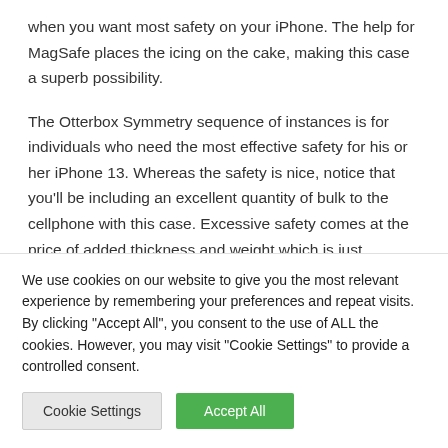when you want most safety on your iPhone. The help for MagSafe places the icing on the cake, making this case a superb possibility.
The Otterbox Symmetry sequence of instances is for individuals who need the most effective safety for his or her iPhone 13. Whereas the safety is nice, notice that you'll be including an excellent quantity of bulk to the cellphone with this case. Excessive safety comes at the price of added thickness and weight which is just
We use cookies on our website to give you the most relevant experience by remembering your preferences and repeat visits. By clicking "Accept All", you consent to the use of ALL the cookies. However, you may visit "Cookie Settings" to provide a controlled consent.